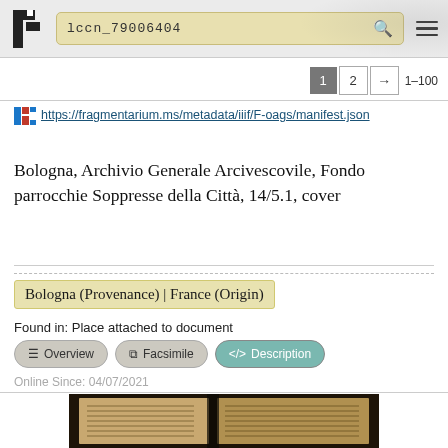lccn_79006404
1  2  →  1–100
https://fragmentarium.ms/metadata/iiif/F-oags/manifest.json
Bologna, Archivio Generale Arcivescovile, Fondo parrocchie Soppresse della Città, 14/5.1, cover
Bologna (Provenance) | France (Origin)
Found in: Place attached to document
≡ Overview  ⊡ Facsimile  </> Description
Online Since: 04/07/2021
[Figure (photo): Photograph of a medieval manuscript fragment with handwritten text visible]